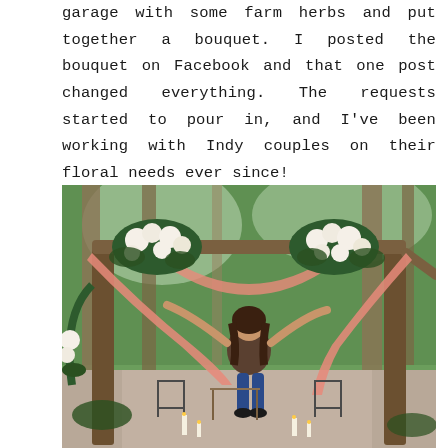garage with some farm herbs and put together a bouquet. I posted the bouquet on Facebook and that one post changed everything. The requests started to pour in, and I've been working with Indy couples on their floral needs ever since!
[Figure (photo): A woman with dark hair stands with arms raised in a wooded outdoor setting beneath a rustic wooden arch draped with pink/coral fabric and decorated with white flowers and greenery. Metal chairs and a table are visible in the foreground along with candles on the ground.]